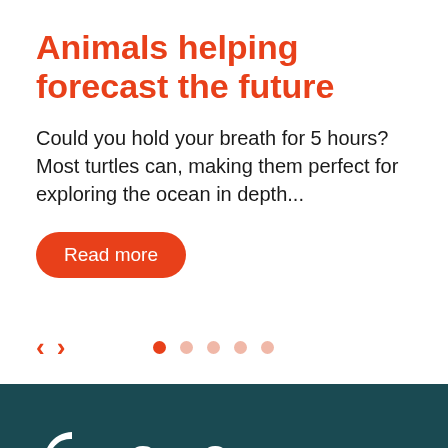Animals helping forecast the future
Could you hold your breath for 5 hours? Most turtles can, making them perfect for exploring the ocean in depth...
Read more
[Figure (infographic): Navigation arrows (left and right chevrons in orange-red) and five pagination dots, first dot active/filled, rest faded]
[Figure (logo): GenOcean logo on dark teal background: circular icon with a C-shaped arc and inner circle, followed by the text GenOcean in white bold font]